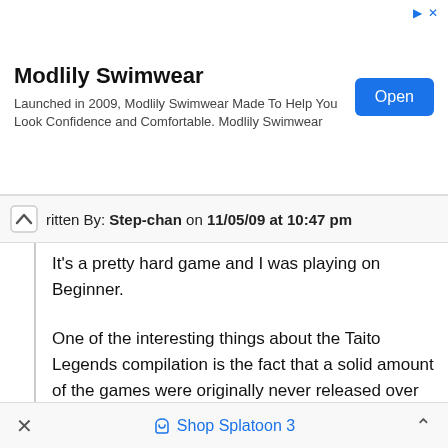[Figure (screenshot): Mobile advertisement banner for Modlily Swimwear with title, description text and blue Open button]
Written By: Step-chan on 11/05/09 at 10:47 pm
It's a pretty hard game and I was playing on Beginner.
One of the interesting things about the Taito Legends compilation is the fact that a solid amount of the games were originally never released over here(whether it was arcade or home port).
I know Puchi Carat(as far as I can tell) has never had a US release. I think I'll check to make sure, but I'm sure it wasn't.
Shop Splatoon 3